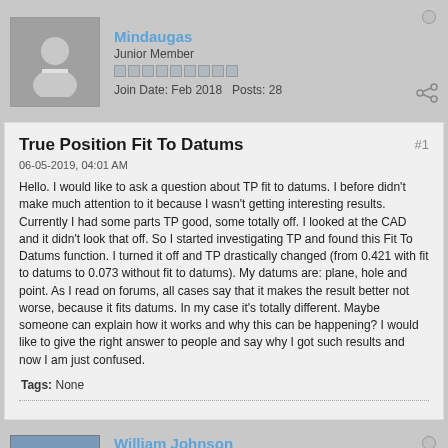Mindaugas
Junior Member
Join Date: Feb 2018   Posts: 28
True Position Fit To Datums
06-05-2019, 04:01 AM
Hello. I would like to ask a question about TP fit to datums. I before didn't make much attention to it because I wasn't getting interesting results. Currently I had some parts TP good, some totally off. I looked at the CAD and it didn't look that off. So I started investigating TP and found this Fit To Datums function. I turned it off and TP drastically changed (from 0.421 with fit to datums to 0.073 without fit to datums). My datums are: plane, hole and point. As I read on forums, all cases say that it makes the result better not worse, because it fits datums. In my case it's totally different. Maybe someone can explain how it works and why this can be happening? I would like to give the right answer to people and say why I got such results and now I am just confused.
Tags: None
William Johnson
Ultra Senior Member
Join Date: Mar 2006   Posts: 513